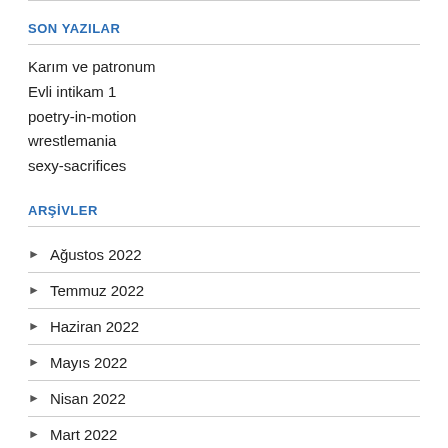SON YAZILAR
Karım ve patronum
Evli intikam 1
poetry-in-motion
wrestlemania
sexy-sacrifices
ARŞİVLER
Ağustos 2022
Temmuz 2022
Haziran 2022
Mayıs 2022
Nisan 2022
Mart 2022